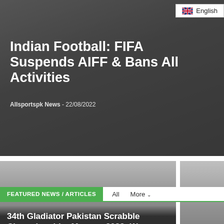English
Indian Football: FIFA Suspends AIFF & Bans All Activities
Allsportspk News  -  22/08/2022
[Figure (screenshot): Hero image with dark overlay showing article about Indian Football FIFA suspending AIFF]
34th Gladiator Pakistan Scrabble Championship; Masters 2022: Waseem Khatri's Record Tenth Win; Stamps His Authority
BREAKING Champion
FEATURED NEWS / ARTICLES
All   More